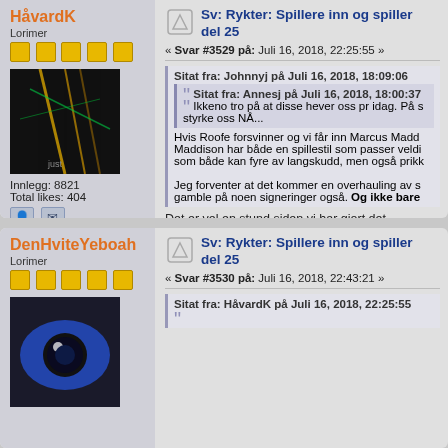HåvardK
Lorimer
Innlegg: 8821
Total likes: 404
Sv: Rykter: Spillere inn og spiller del 25
« Svar #3529 på: Juli 16, 2018, 22:25:55 »
Sitat fra: Johnnyj på Juli 16, 2018, 18:09:06
Sitat fra: Annesj på Juli 16, 2018, 18:00:37
Ikkeno tro på at disse hever oss pr idag. På s styrke oss NÅ...
Hvis Roofe forsvinner og vi får inn Marcus Madd Maddison har både en spillestil som passer veldi som både kan fyre av langskudd, men også prikk
Jeg forventer at det kommer en overhauling av s gamble på noen signeringer også. Og ikke bare
Det er vel en stund siden vi har gjort det...
DenHviteYeboah
Lorimer
Sv: Rykter: Spillere inn og spiller del 25
« Svar #3530 på: Juli 16, 2018, 22:43:21 »
Sitat fra: HåvardK på Juli 16, 2018, 22:25:55